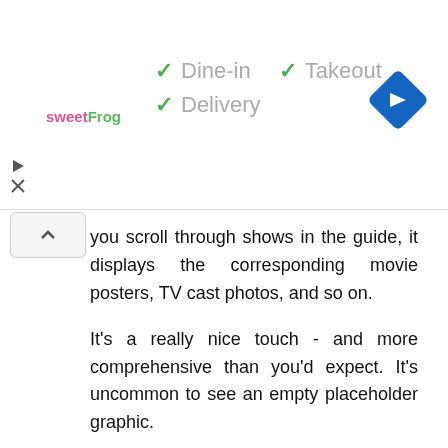[Figure (screenshot): Ad banner showing sweetFrog logo with checkmarks for Dine-in, Takeout, Delivery options and a blue navigation diamond icon on the right]
you scroll through shows in the guide, it displays the corresponding movie posters, TV cast photos, and so on.
It's a really nice touch - and more comprehensive than you'd expect. It's uncommon to see an empty placeholder graphic.
Pushing "up" on the remote brings up a 9 tile "quick change" pop-up - you can set your favorite 9 channels, and their logos will appear here.
One drawback - DirecTV has a *ridiculous* proliferation of home-shopping infomercial channels. And it's often the case when...